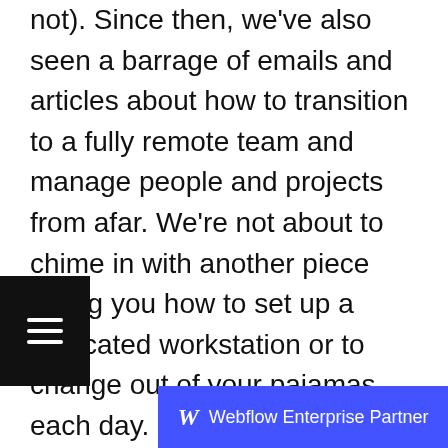not). Since then, we've also seen a barrage of emails and articles about how to transition to a fully remote team and manage people and projects from afar. We're not about to chime in with another piece telling you how to set up a dedicated workstation or to change out of your pajamas each day. But after 6+ weeks of working 100% remote, we thought it felt like a good time to share a few tips on what's worked well for us as a digital agency during this time, not just as stopgaps for interim operations, but as long-term solutions that will rule how we operate for the foreseeable future.